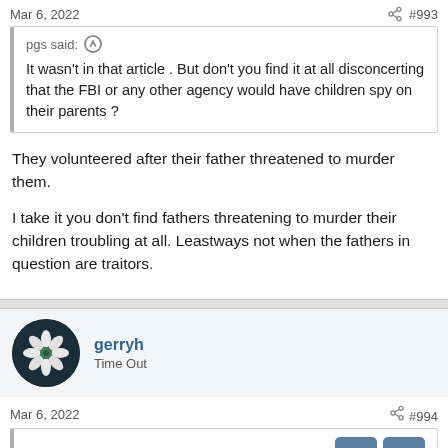Mar 6, 2022  #993
pgs said: ↑
It wasn't in that article . But don't you find it at all disconcerting that the FBI or any other agency would have children spy on their parents ?
They volunteered after their father threatened to murder them.
I take it you don't find fathers threatening to murder their children troubling at all. Leastways not when the fathers in question are traitors.
gerryh
Time Out
Mar 6, 2022  #994
Twin_Moose said: ↑